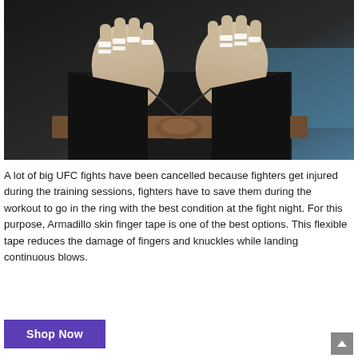[Figure (photo): A martial artist wearing a black gi and brown belt, holding up both hands with white finger tape on multiple fingers. A blue gym mat is visible in the background.]
A lot of big UFC fights have been cancelled because fighters get injured during the training sessions, fighters have to save them during the workout to go in the ring with the best condition at the fight night. For this purpose, Armadillo skin finger tape is one of the best options. This flexible tape reduces the damage of fingers and knuckles while landing continuous blows.